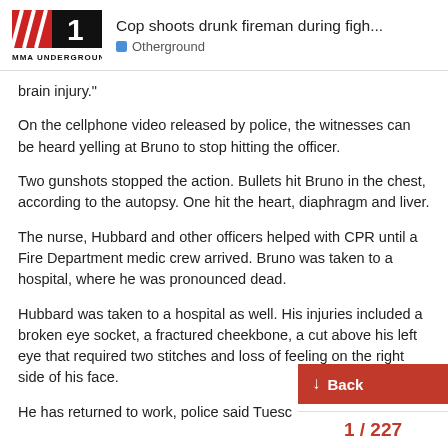Cop shoots drunk fireman during figh... | Otherground
brain injury."
On the cellphone video released by police, the witnesses can be heard yelling at Bruno to stop hitting the officer.
Two gunshots stopped the action. Bullets hit Bruno in the chest, according to the autopsy. One hit the heart, diaphragm and liver.
The nurse, Hubbard and other officers helped with CPR until a Fire Department medic crew arrived. Bruno was taken to a hospital, where he was pronounced dead.
Hubbard was taken to a hospital as well. His injuries included a broken eye socket, a fractured cheekbone, a cut above his left eye that required two stitches and loss of feeling on the right side of his face.
He has returned to work, police said Tuesc